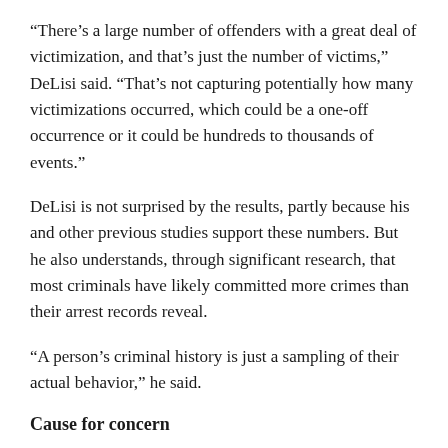“There’s a large number of offenders with a great deal of victimization, and that’s just the number of victims,” DeLisi said. “That’s not capturing potentially how many victimizations occurred, which could be a one-off occurrence or it could be hundreds to thousands of events.”
DeLisi is not surprised by the results, partly because his and other previous studies support these numbers. But he also understands, through significant research, that most criminals have likely committed more crimes than their arrest records reveal.
“A person’s criminal history is just a sampling of their actual behavior,” he said.
Cause for concern
DeLisi said the data replication in this study affirms that sexual offenders of even minor offenses are likely capable